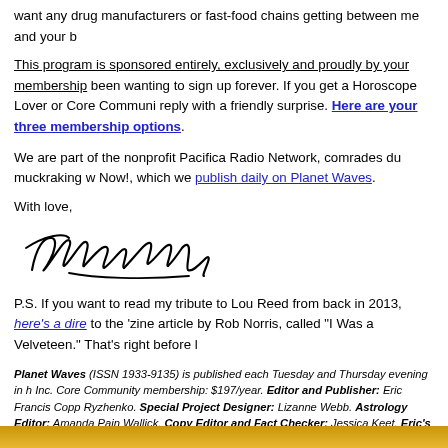want any drug manufacturers or fast-food chains getting between me and your b
This program is sponsored entirely, exclusively and proudly by your membership. been wanting to sign up forever. If you get a Horoscope Lover or Core Communi reply with a friendly surprise. Here are your three membership options.
We are part of the nonprofit Pacifica Radio Network, comrades du muckraking w Now!, which we publish daily on Planet Waves.
With love,
[Figure (illustration): Handwritten cursive signature reading 'Eric Francis']
P.S. If you want to read my tribute to Lou Reed from back in 2013, here's a dire to the 'zine article by Rob Norris, called "I Was a Velveteen." That's right before l
Planet Waves (ISSN 1933-9135) is published each Tuesday and Thursday evening in h Inc. Core Community membership: $197/year. Editor and Publisher: Eric Francis Copp Ryzhenko. Special Project Designer: Lizanne Webb. Astrology Editor: Amanda Pain Wallick. Copy Editor and Fact Checker: Jessica Keet. Eric's Assistant: Ellen Docker Consultant: Andrew Ellis Marshall McLuhan. Music Director: Daniel Sternstein. Bass Additional Research, Writing and Opinions: Amy Jacobs, Cindy Ragusa and Carol v